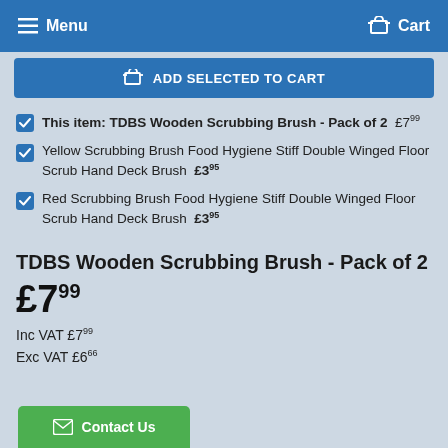Menu  Cart
ADD SELECTED TO CART
This item: TDBS Wooden Scrubbing Brush - Pack of 2  £7.99
Yellow Scrubbing Brush Food Hygiene Stiff Double Winged Floor Scrub Hand Deck Brush  £3.95
Red Scrubbing Brush Food Hygiene Stiff Double Winged Floor Scrub Hand Deck Brush  £3.95
TDBS Wooden Scrubbing Brush - Pack of 2
£7.99
Inc VAT £7.99
Exc VAT £6.66
Contact Us